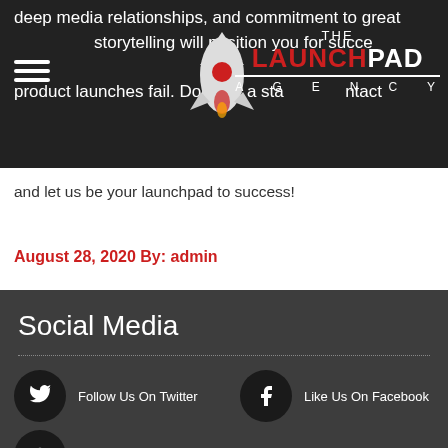THE LAUNCHPAD AGENCY
deep media relationships, and commitment to great storytelling will position you for success. 80% of product launches fail. Don't be a statistic, contact us and let us be your launchpad to success!
August 28, 2020 By: admin
Social Media
Follow Us On Twitter
Like Us On Facebook